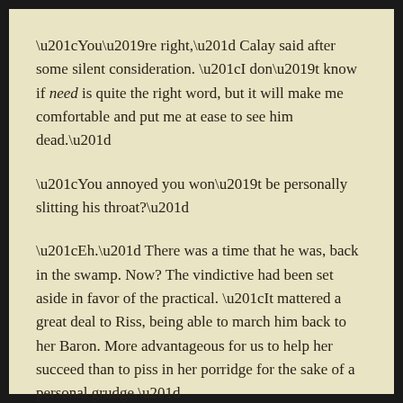“You’re right,” Calay said after some silent consideration. “I don’t know if need is quite the right word, but it will make me comfortable and put me at ease to see him dead.”
“You annoyed you won’t be personally slitting his throat?”
“Eh.” There was a time that he was, back in the swamp. Now? The vindictive had been set aside in favor of the practical. “It mattered a great deal to Riss, being able to march him back to her Baron. More advantageous for us to help her succeed than to piss in her porridge for the sake of a personal grudge.”
Oddly, Gaz smiled.